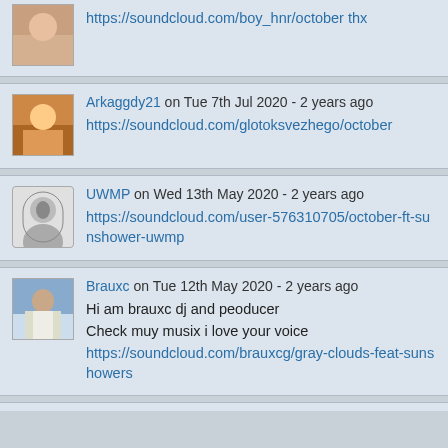[Figure (screenshot): Partial comment at top: avatar image with link https://soundcloud.com/boy_hnr/october thx]
Arkaggdy21 on Tue 7th Jul 2020 - 2 years ago
https://soundcloud.com/glotoksvezhego/october
UWMP on Wed 13th May 2020 - 2 years ago
https://soundcloud.com/user-576310705/october-ft-sunshower-uwmp
Brauxc on Tue 12th May 2020 - 2 years ago
Hi am brauxc dj and peoducer
Check muy musix i love your voice
https://soundcloud.com/brauxcg/gray-clouds-feat-sunshowers